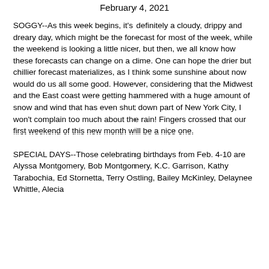February 4, 2021
SOGGY--As this week begins, it's definitely a cloudy, drippy and dreary day, which might be the forecast for most of the week, while the weekend is looking a little nicer, but then, we all know how these forecasts can change on a dime. One can hope the drier but chillier forecast materializes, as I think some sunshine about now would do us all some good. However, considering that the Midwest and the East coast were getting hammered with a huge amount of snow and wind that has even shut down part of New York City, I won't complain too much about the rain! Fingers crossed that our first weekend of this new month will be a nice one.
SPECIAL DAYS--Those celebrating birthdays from Feb. 4-10 are Alyssa Montgomery, Bob Montgomery, K.C. Garrison, Kathy Tarabochia, Ed Stornetta, Terry Ostling, Bailey McKinley, Delaynee Whittle, Alecia